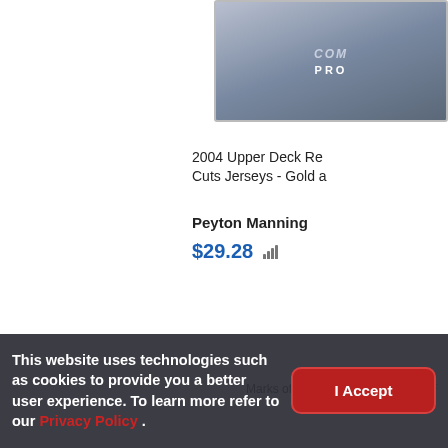[Figure (photo): Partial view of a trading card with COM and PRO text visible, top-right corner of page]
2004 Upper Deck Re Cuts Jerseys - Gold a
Peyton Manning
$29.28
[Figure (photo): Partial view of a Marks of Fame memorabilia trading card with jersey patch and script autograph area, dark background]
Marks of Fame [Memorabilia] #MOF
This website uses technologies such as cookies to provide you a better user experience. To learn more refer to our Privacy Policy .